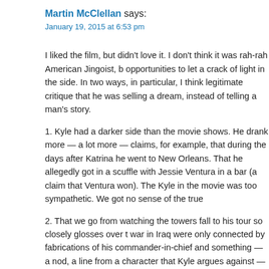Martin McClellan says:
January 19, 2015 at 6:53 pm
I liked the film, but didn't love it. I don't think it was rah-rah American Jingoist, but it missed opportunities to let a crack of light in the side. In two ways, in particular, I think there is legitimate critique that he was selling a dream, instead of telling a man's story.
1. Kyle had a darker side than the movie shows. He drank more — a lot more — claims, for example, that during the days after Katrina he went to New Orleans. That he allegedly got in a scuffle with Jessie Ventura in a bar (a claim that Ventura won). The Kyle in the movie was too sympathetic. We got no sense of the true
2. That we go from watching the towers fall to his tour so closely glosses over that the war in Iraq were only connected by fabrications of his commander-in-chief and something — a nod, a line from a character that Kyle argues against — something context.
Those two omissions conveniently erase doubt or ambiguity in Kyle, and make
But, there's one scene that I think goes against what I'm arguing: it is the last o
When Kyle takes that massive revolver and points it at his wife, with the trigger runs counter to what anybody trained in firearms would do. Especially in front ( sexual coercion, which is playful only in that it's consensual, and it seems that here other than the menace outside the door.
Then, what does he do with that pistol? He places it on a high-shelf, cocked, ar but how are we to know? He's going shooting.